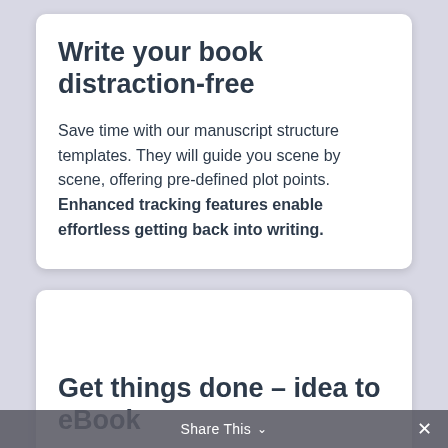Write your book distraction-free
Save time with our manuscript structure templates. They will guide you scene by scene, offering pre-defined plot points. Enhanced tracking features enable effortless getting back into writing.
Get things done – idea to eBook
No more wasting time on endless rewrites. Structured creativity thanks to productive
Share This ∨  ×